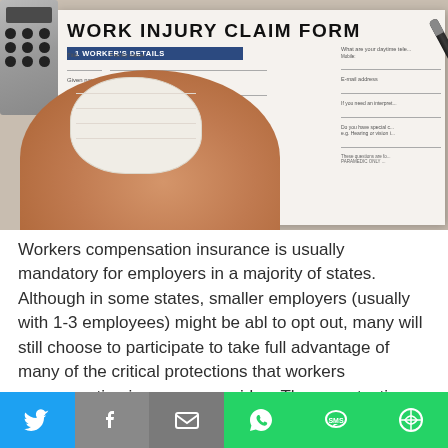[Figure (photo): A bandaged hand holding a pen over a Work Injury Claim Form, with a calculator visible in the top-left corner. The form shows fields for worker's details including title, family name, given names, and other legal names.]
Workers compensation insurance is usually mandatory for employers in a majority of states. Although in some states, smaller employers (usually with 1-3 employees) might be able to opt out, many will still choose to participate to take full advantage of many of the critical protections that workers compensation insurance provides. Those protections include
[Figure (infographic): Social media sharing bar with icons for Twitter (blue), Facebook (grey), Email (grey), WhatsApp (green), SMS (green), and more options (green)]